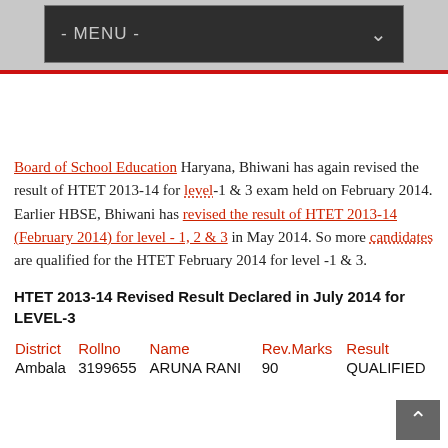- MENU -
Board of School Education Haryana, Bhiwani has again revised the result of HTET 2013-14 for level-1 & 3 exam held on February 2014. Earlier HBSE, Bhiwani has revised the result of HTET 2013-14 (February 2014) for level - 1, 2 & 3 in May 2014. So more candidates are qualified for the HTET February 2014 for level -1 & 3.
HTET 2013-14 Revised Result Declared in July 2014 for LEVEL-3
| District | Rollno | Name | Rev.Marks | Result |
| --- | --- | --- | --- | --- |
| Ambala | 3199655 | ARUNA RANI | 90 | QUALIFIED |